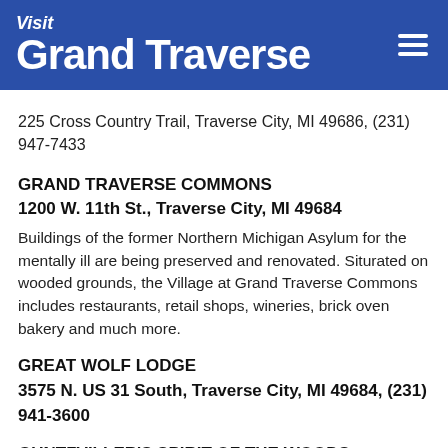Visit Grand Traverse
225 Cross Country Trail, Traverse City, MI 49686, (231) 947-7433
GRAND TRAVERSE COMMONS
1200 W. 11th St., Traverse City, MI 49684
Buildings of the former Northern Michigan Asylum for the mentally ill are being preserved and renovated. Siturated on wooded grounds, the Village at Grand Traverse Commons includes restaurants, retail shops, wineries, brick oven bakery and much more.
GREAT WOLF LODGE
3575 N. US 31 South, Traverse City, MI 49684, (231) 941-3600
GUNTZVILLER'S SPIRIT OF THE WOODS MUSEUM